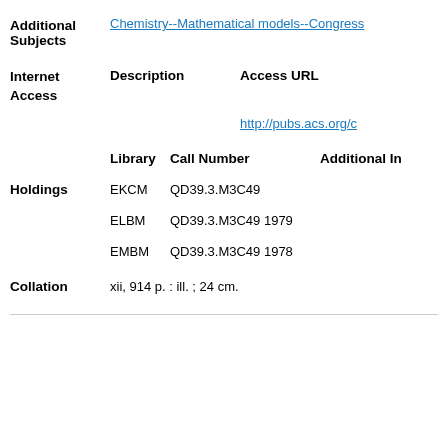Additional Subjects: Chemistry--Mathematical models--Congress
|  | Description | Access URL |
| --- | --- | --- |
| Internet Access |  | http://pubs.acs.org/c |
|  | Library | Call Number | Additional In |
| --- | --- | --- | --- |
| Holdings | EKCM | QD39.3.M3C49 |  |
|  | ELBM | QD39.3.M3C49 1979 |  |
|  | EMBM | QD39.3.M3C49 1978 |  |
Collation: xii, 914 p. : ill. ; 24 cm.